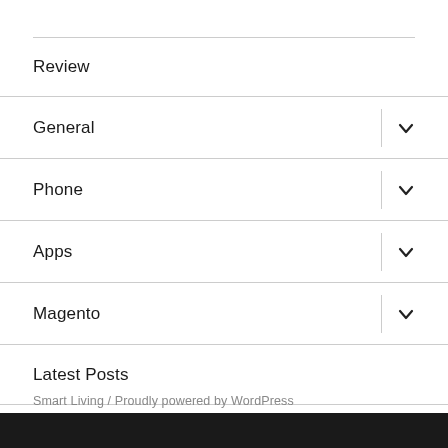Review
General
Phone
Apps
Magento
Latest Posts
Smart Living / Proudly powered by WordPress